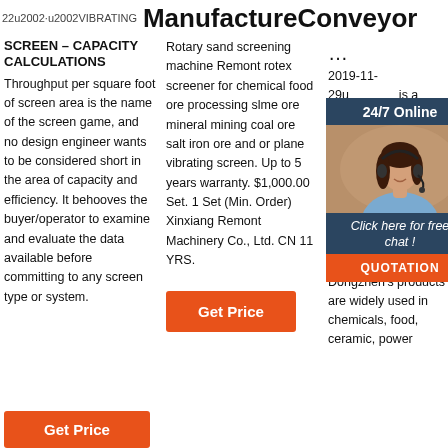22u2002·u2002VIBRATING SCREEN – CAPACITY CALCULATIONS
ManufactureConveyor
VIBRATING SCREEN – CAPACITY CALCULATIONS
Throughput per square foot of screen area is the name of the screen game, and no design engineer wants to be considered short in the area of capacity and efficiency. It behooves the buyer/operator to examine and evaluate the data available before committing to any screen type or system.
Rotary sand screening machine Remont rotex screener for chemical food ore processing slme ore mineral mining coal ore salt iron ore and or plane vibrating screen. Up to 5 years warranty. $1,000.00 Set. 1 Set (Min. Order) Xinxiang Remont Machinery Co., Ltd. CN 11 YRS.
...
2019-11-29u... is a desi proc scre conv scre ele non- equipment according to customers' request. Dongzhen's products are widely used in chemicals, food, ceramic, power
[Figure (photo): Chat widget with woman wearing headset, 24/7 Online header, Click here for free chat button, and QUOTATION orange button]
Get Price